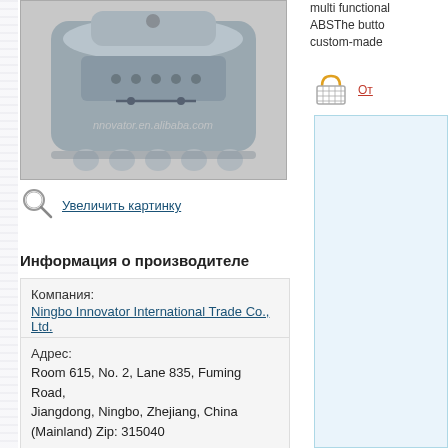[Figure (photo): Product photo of a grey plastic multi-functional box/container with watermark text 'nnovator.en.alibaba.com']
Увеличить картинку
Информация о производителе
| Компания: | Ningbo Innovator International Trade Co., Ltd. |
| Адрес: | Room 615, No. 2, Lane 835, Fuming Road, Jiangdong, Ningbo, Zhejiang, China (Mainland) Zip: 315040 |
multi functional ABSThe button custom-made
От